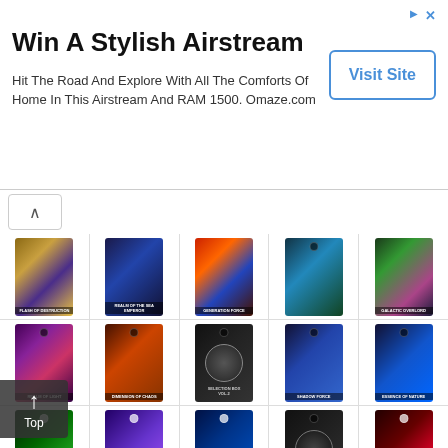[Figure (screenshot): Advertisement banner: Win A Stylish Airstream - Hit The Road And Explore With All The Comforts Of Home In This Airstream And RAM 1500. Omaze.com. Visit Site button on right.]
[Figure (screenshot): Grid of Yu-Gi-Oh! card booster pack images arranged in rows of 5. Row 1: Flash of Destruction, Realm of the Sea Emperor, Generation Force, unknown pack, Galactic Overlord. Row 2: unknown pack, Dimension of Chaos, Selection Box Vol.2, unknown pack, unknown pack. Row 3: unknown pack, Blazing Vortex, Visions of Ice, Selection Box Vol.3, unknown pack. Row 4 (partial): 3 packs visible at bottom.]